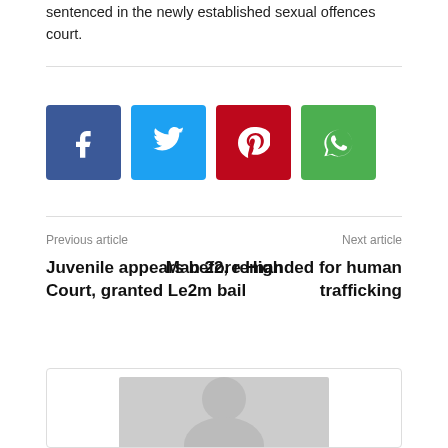sentenced in the newly established sexual offences court.
[Figure (infographic): Social share buttons: Facebook (blue), Twitter (light blue), Pinterest (red), WhatsApp (green)]
Previous article
Next article
Juvenile appears before High Court, granted Le2m bail
Man 22, remanded for human trafficking
[Figure (photo): Default author avatar placeholder — grey silhouette of a person on light grey background]